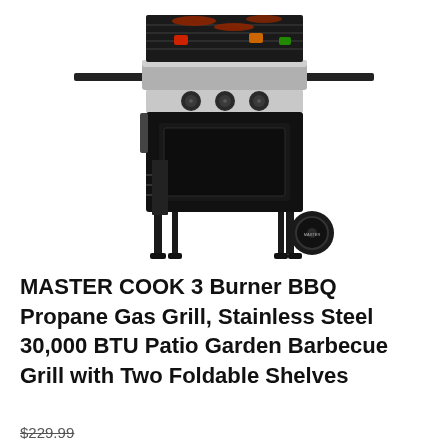[Figure (photo): A MASTER COOK 3-burner propane gas grill with black body, stainless steel lid, two foldable side shelves, three control knobs, legs, and a wheel on the right side. Food (sausages and vegetables) visible on the grill grates at top.]
MASTER COOK 3 Burner BBQ Propane Gas Grill, Stainless Steel 30,000 BTU Patio Garden Barbecue Grill with Two Foldable Shelves
$229.99